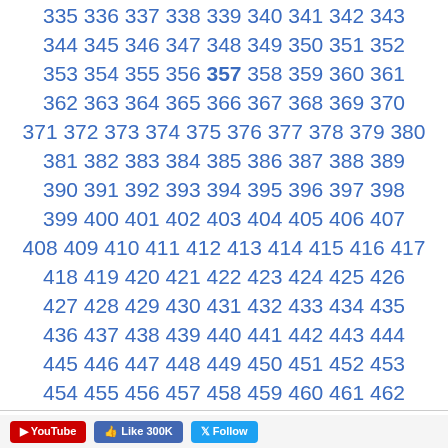335 336 337 338 339 340 341 342 343 344 345 346 347 348 349 350 351 352 353 354 355 356 357 358 359 360 361 362 363 364 365 366 367 368 369 370 371 372 373 374 375 376 377 378 379 380 381 382 383 384 385 386 387 388 389 390 391 392 393 394 395 396 397 398 399 400 401 402 403 404 405 406 407 408 409 410 411 412 413 414 415 416 417 418 419 420 421 422 423 424 425 426 427 428 429 430 431 432 433 434 435 436 437 438 439 440 441 442 443 444 445 446 447 448 449 450 451 452 453 454 455 456 457 458 459 460 461 462 463 464 465 466 467 468 469 470 471 472 473 474 475 476 477 478 479 480 481 482 483 484 485 486 487 488 489 490 491 492 493 494 495 496 497 498 499 500 501 502 503 504 505 506 ...
YouTube  Like 300K  Follow